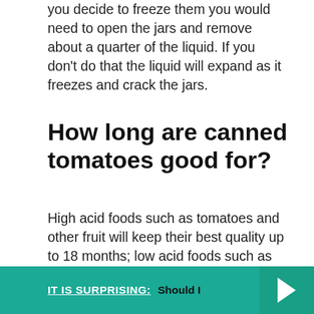you decide to freeze them you would need to open the jars and remove about a quarter of the liquid. If you don't do that the liquid will expand as it freezes and crack the jars.
How long are canned tomatoes good for?
High acid foods such as tomatoes and other fruit will keep their best quality up to 18 months; low acid foods such as meat and vegetables, 2 to 5 years. If cans are in good condition (no dents, swelling, or rust) and have been stored in a cool, clean, dry place they are safe indefinitely.
IT IS SURPRISING:  Should I